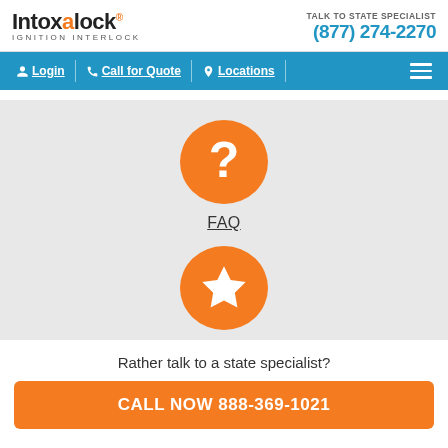Intoxalock IGNITION INTERLOCK — TALK TO STATE SPECIALIST (877) 274-2270
Login | Call for Quote | Locations | Menu
[Figure (illustration): Orange circle with white question mark icon]
FAQ
[Figure (illustration): Orange circle with white star icon]
Rather talk to a state specialist?
CALL NOW 888-369-1021